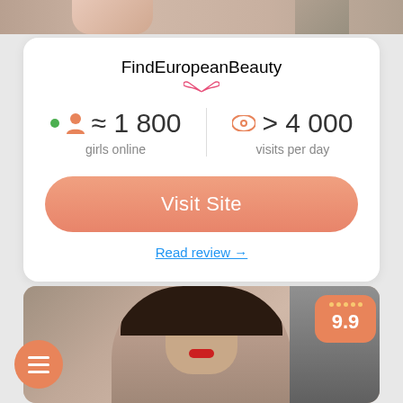[Figure (screenshot): Top partial image strip showing hands or skin tones]
FindEuropeanBeauty
≈ 1 800 girls online
> 4 000 visits per day
Visit Site
Read review →
[Figure (photo): Photo of a young Asian woman with dark hair and red lips, rating badge showing 9.9]
9.9